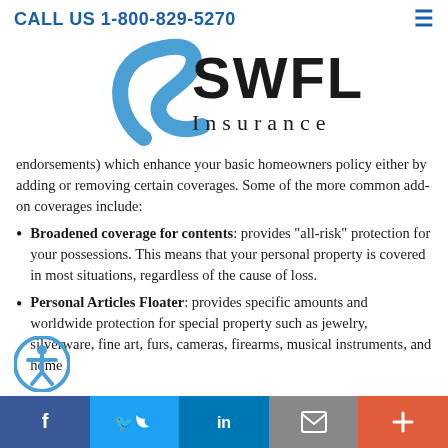CALL US 1-800-829-5270
[Figure (logo): SWFL Insurance logo with blue curved swoosh and text]
endorsements) which enhance your basic homeowners policy either by adding or removing certain coverages. Some of the more common add-on coverages include:
Broadened coverage for contents: provides "all-risk" protection for your possessions. This means that your personal property is covered in most situations, regardless of the cause of loss.
Personal Articles Floater: provides specific amounts and worldwide protection for special property such as jewelry, silverware, fine art, furs, cameras, firearms, musical instruments, and home
Facebook  Twitter  LinkedIn  Email  More